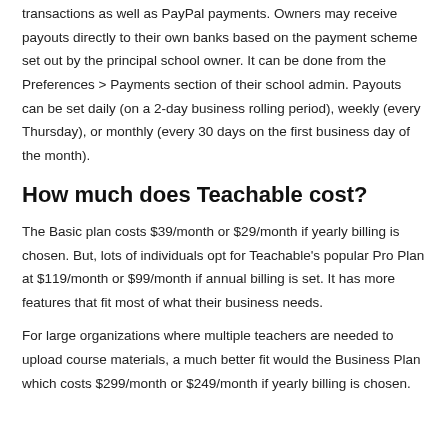transactions as well as PayPal payments. Owners may receive payouts directly to their own banks based on the payment scheme set out by the principal school owner. It can be done from the Preferences > Payments section of their school admin. Payouts can be set daily (on a 2-day business rolling period), weekly (every Thursday), or monthly (every 30 days on the first business day of the month).
How much does Teachable cost?
The Basic plan costs $39/month or $29/month if yearly billing is chosen. But, lots of individuals opt for Teachable's popular Pro Plan at $119/month or $99/month if annual billing is set. It has more features that fit most of what their business needs.
For large organizations where multiple teachers are needed to upload course materials, a much better fit would the Business Plan which costs $299/month or $249/month if yearly billing is chosen.